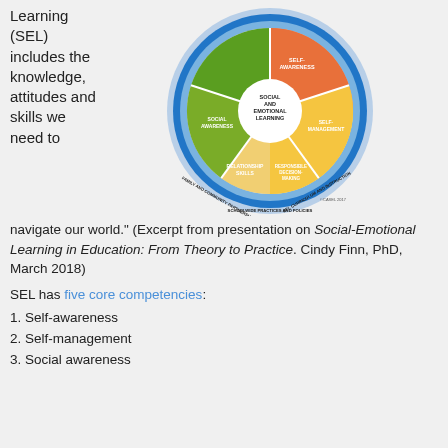Learning (SEL) includes the knowledge, attitudes and skills we need to
[Figure (infographic): CASEL SEL wheel diagram showing five core competencies: Self-Awareness, Self-Management, Responsible Decision-Making, Relationship Skills, Social Awareness — arranged as colored segments around a central white circle labeled 'Social and Emotional Learning'. Outer rings labeled: SEL Curriculum and Instruction, Schoolwide Practices and Policies, Family and Community Partnerships. © CASEL 2017]
navigate our world." (Excerpt from presentation on Social-Emotional Learning in Education: From Theory to Practice. Cindy Finn, PhD, March 2018)
SEL has five core competencies:
1. Self-awareness
2. Self-management
3. Social awareness